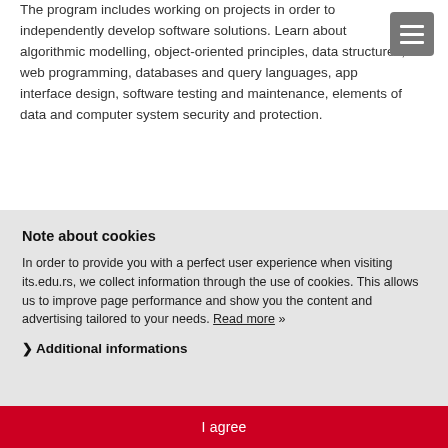The program includes working on projects in order to independently develop software solutions. Learn about algorithmic modelling, object-oriented principles, data structures, web programming, databases and query languages, app interface design, software testing and maintenance, elements of data and computer system security and protection.
Note about cookies
In order to provide you with a perfect user experience when visiting its.edu.rs, we collect information through the use of cookies. This allows us to improve page performance and show you the content and advertising tailored to your needs. Read more »
❯ Additional informations
I agree